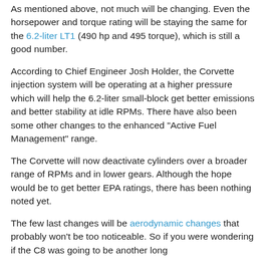As mentioned above, not much will be changing. Even the horsepower and torque rating will be staying the same for the 6.2-liter LT1 (490 hp and 495 torque), which is still a good number.
According to Chief Engineer Josh Holder, the Corvette injection system will be operating at a higher pressure which will help the 6.2-liter small-block get better emissions and better stability at idle RPMs. There have also been some other changes to the enhanced "Active Fuel Management" range.
The Corvette will now deactivate cylinders over a broader range of RPMs and in lower gears. Although the hope would be to get better EPA ratings, there has been nothing noted yet.
The few last changes will be aerodynamic changes that probably won't be too noticeable. So if you were wondering if the C8 was going to be another long